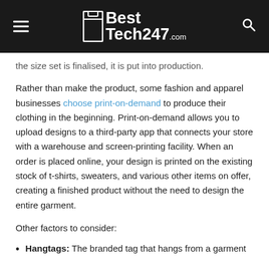BestTech247.com
the size set is finalised, it is put into production.
Rather than make the product, some fashion and apparel businesses choose print-on-demand to produce their clothing in the beginning. Print-on-demand allows you to upload designs to a third-party app that connects your store with a warehouse and screen-printing facility. When an order is placed online, your design is printed on the existing stock of t-shirts, sweaters, and various other items on offer, creating a finished product without the need to design the entire garment.
Other factors to consider:
Hangtags: The branded tag that hangs from a garment